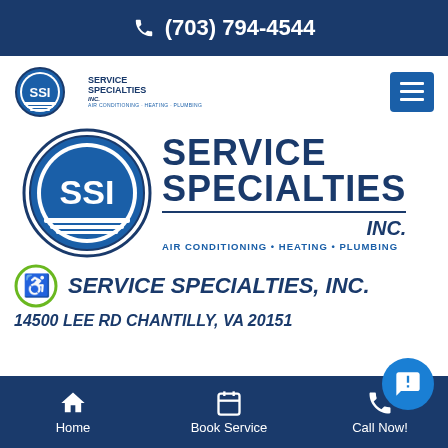(703) 794-4544
[Figure (logo): Service Specialties Inc. small logo in navigation bar]
[Figure (logo): Service Specialties Inc. large logo with SSI circular emblem and text: SERVICE SPECIALTIES INC. AIR CONDITIONING • HEATING • PLUMBING]
SERVICE SPECIALTIES, INC.
14500 LEE RD CHANTILLY, VA 20151
Home   Book Service   Call Now!